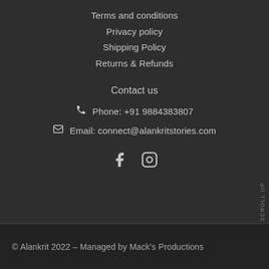Terms and conditions
Privacy policy
Shipping Policy
Returns & Refunds
Contact us
Phone: +91 9884383807
Email: connect@alankritstories.com
[Figure (infographic): Social media icons: Facebook and Instagram]
SCROLL UP
© Alankrit 2022 – Managed by Mack's Productions